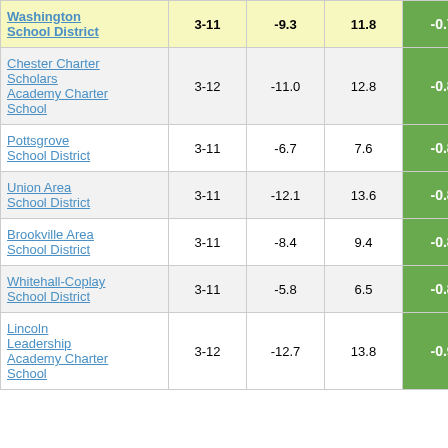| School/District | Grades | Col3 | Col4 | Score |
| --- | --- | --- | --- | --- |
| Washington School District | 3-11 | -9.3 | 11.8 | -0.78 |
| Chester Charter Scholars Academy Charter School | 3-12 | -11.0 | 12.8 | -0.85 |
| Pottsgrove School District | 3-11 | -6.7 | 7.6 | -0.88 |
| Union Area School District | 3-11 | -12.1 | 13.6 | -0.88 |
| Brookville Area School District | 3-11 | -8.4 | 9.4 | -0.89 |
| Whitehall-Coplay School District | 3-11 | -5.8 | 6.5 | -0.89 |
| Lincoln Leadership Academy Charter School | 3-12 | -12.7 | 13.8 | -0.92 |